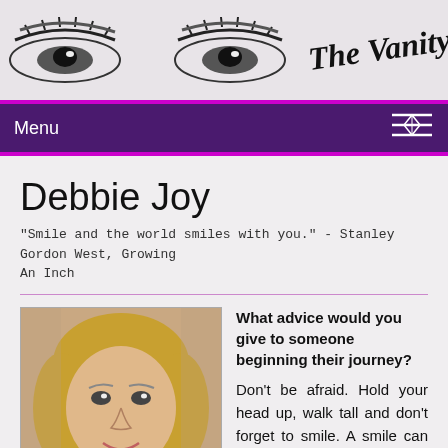[Figure (illustration): Website header banner with two eye illustrations in black and white on left side and cursive script text 'The Vanity Ch...' on right side, gray background]
Menu
Debbie Joy
"Smile and the world smiles with you." - Stanley Gordon West, Growing An Inch
[Figure (photo): Portrait photo of Debbie Joy, a woman with blonde hair, smiling, wearing a floral top and necklace]
What advice would you give to someone beginning their journey?
Don't be afraid. Hold your head up, walk tall and don't forget to smile. A smile can disarm most people who frown on you. Wear clothes